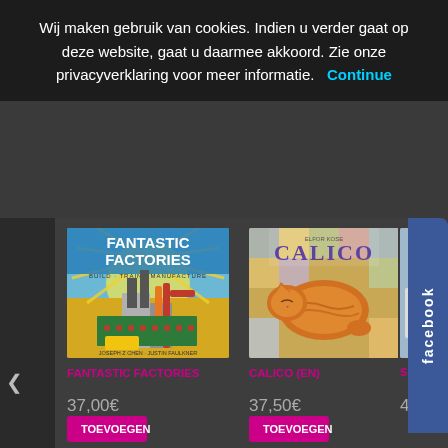Wij maken gebruik van cookies. Indien u verder gaat op deze website, gaat u daarmee akkoord. Zie onze privacyverklaring voor meer informatie.   Continue
[Figure (illustration): Fantastic Factories board game box cover art showing industrial factory scene with chimneys, pipes, and stylized factory buildings in bright colors. Text reads FANTASTIC FACTORIES BUILD · TRAIN · MANUFACTURE by Joseph Z Chen · Justin Faulkner]
FANTASTIC FACTORIES
37,00€
[Figure (illustration): Calico board game box cover art showing a sleeping orange tabby cat curled up on colorful patchwork quilt tiles. Title CALICO by Elfor Kose prominently displayed.]
CALICO (EN)
37,50€
SANTA
41,0